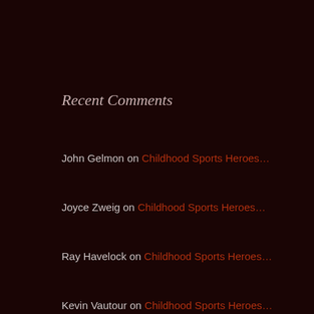Recent Comments
John Gelmon on Childhood Sports Heroes…
Joyce Zweig on Childhood Sports Heroes…
Ray Havelock on Childhood Sports Heroes…
Kevin Vautour on Childhood Sports Heroes…
Eric Zweig on Childhood Sports Heroes…
Archives